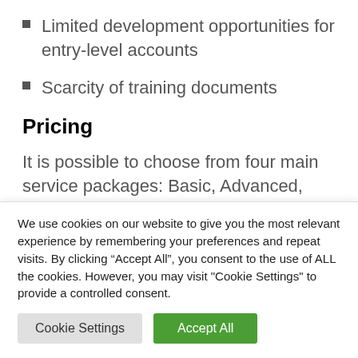Limited development opportunities for entry-level accounts
Scarcity of training documents
Pricing
It is possible to choose from four main service packages: Basic, Advanced, Professional and Enterprise.
We use cookies on our website to give you the most relevant experience by remembering your preferences and repeat visits. By clicking “Accept All”, you consent to the use of ALL the cookies. However, you may visit "Cookie Settings" to provide a controlled consent.